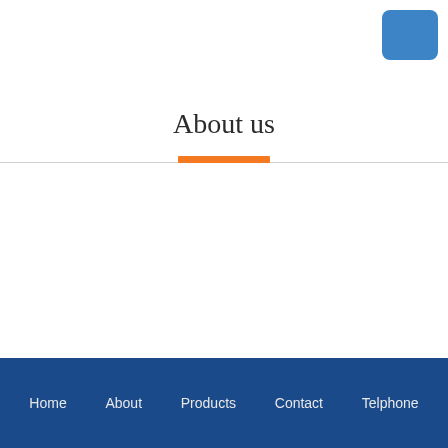[Figure (other): Blue rounded rectangle in top-right corner]
About us
Home   About   Products   Contact   Telphone